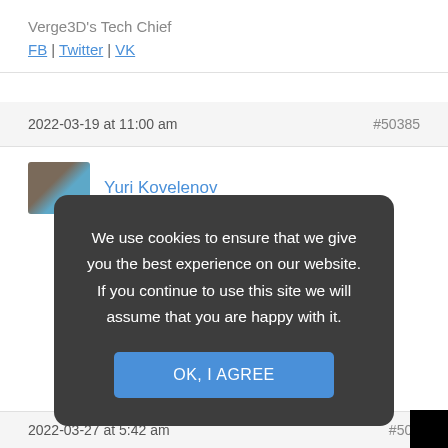Verge3D's Tech Chief
FB | Twitter | VK
2022-03-19 at 11:00 am   #50385
Yuri Kovelenov
We use cookies to ensure that we give you the best experience on our website. If you continue to use this site we will assume that you are happy with it.
OK, I AGREE
2022-03-27 at 5:42 am   #506